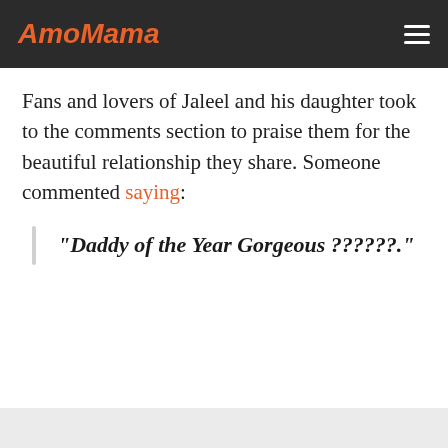AmoMama
Fans and lovers of Jaleel and his daughter took to the comments section to praise them for the beautiful relationship they share. Someone commented saying:
"Daddy of the Year Gorgeous ??????."